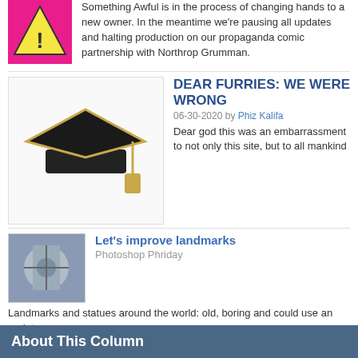Something Awful is in the process of changing hands to a new owner. In the meantime we're pausing all updates and halting production on our propaganda comic partnership with Northrop Grumman.
[Figure (illustration): Yellow and pink diamond warning sign logo thumbnail]
DEAR FURRIES: WE WERE WRONG
06-30-2020 by Phiz Kalifa
Dear god this was an embarrassment to not only this site, but to all mankind
[Figure (illustration): Black graduation cap thumbnail]
Let's improve landmarks
Photoshop Phriday
Landmarks and statues around the world: old, boring and could use an update.
[Figure (photo): Statue thumbnail for Let's improve landmarks]
Make Horror Wholesome
Photoshop Phriday
Join the SA Forum photoshop goons in their quest to make horror wholesome!
[Figure (photo): Horror chair thumbnail]
Every Conceivable Way EA Could Screw Up Star Wars: Squadrons
Video Game Article
Yes, there are finally enough games for a new round of One Sentence Reviews
[Figure (photo): Star Wars Squadrons thumbnail]
About This Column